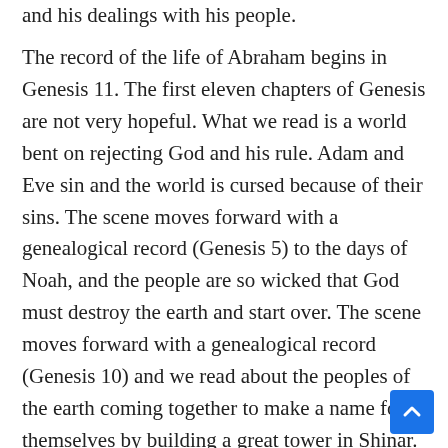and his dealings with his people.
The record of the life of Abraham begins in Genesis 11. The first eleven chapters of Genesis are not very hopeful. What we read is a world bent on rejecting God and his rule. Adam and Eve sin and the world is cursed because of their sins. The scene moves forward with a genealogical record (Genesis 5) to the days of Noah, and the people are so wicked that God must destroy the earth and start over. The scene moves forward with a genealogical record (Genesis 10) and we read about the peoples of the earth coming together to make a name for themselves by building a great tower in Shinar. God must enter into judgment, confuse their languages, and scatter them across the face of the earth. Judgment should burn through the earth because God's already given three opportunities for obedience and yet the